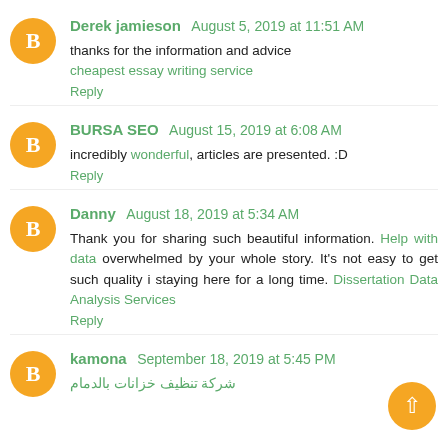Derek jamieson  August 5, 2019 at 11:51 AM
thanks for the information and advice
cheapest essay writing service
Reply
BURSA SEO  August 15, 2019 at 6:08 AM
incredibly wonderful, articles are presented. :D
Reply
Danny  August 18, 2019 at 5:34 AM
Thank you for sharing such beautiful information. Help with data overwhelmed by your whole story. It's not easy to get such quality i staying here for a long time. Dissertation Data Analysis Services
Reply
kamona  September 18, 2019 at 5:45 PM
شركة تنظيف خزانات بالدمام